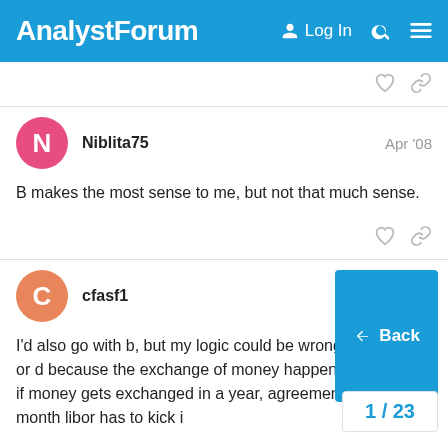AnalystForum  Log In
Niblita75  Apr '08
B makes the most sense to me, but not that much sense.
cfasf1  Apr '08
I'd also go with b, but my logic could be wrong. eliminate c or d because the exchange of money happens in a year? if money gets exchanged in a year, agreement for six month libor has to kick i